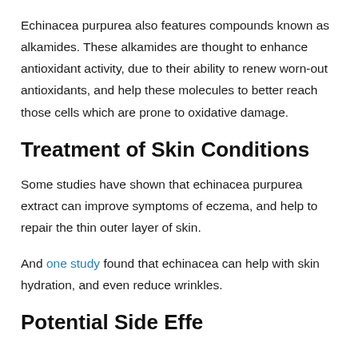Echinacea purpurea also features compounds known as alkamides. These alkamides are thought to enhance antioxidant activity, due to their ability to renew worn-out antioxidants, and help these molecules to better reach those cells which are prone to oxidative damage.
Treatment of Skin Conditions
Some studies have shown that echinacea purpurea extract can improve symptoms of eczema, and help to repair the thin outer layer of skin.
And one study found that echinacea can help with skin hydration, and even reduce wrinkles.
Potential Side Effects